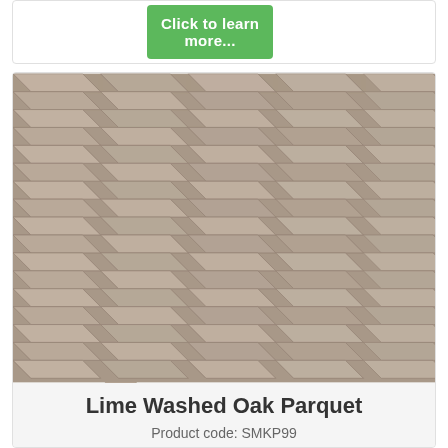[Figure (other): Green button with text 'Click to learn more...' on a white card background]
[Figure (photo): Close-up photo of Lime Washed Oak Parquet flooring in a herringbone pattern, grey-beige tones with wood grain texture]
Lime Washed Oak Parquet
Product code: SMKP99